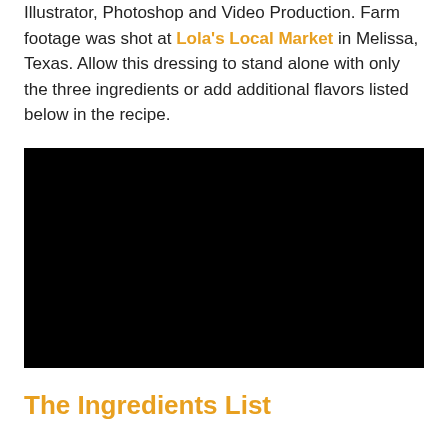Illustrator, Photoshop and Video Production. Farm footage was shot at Lola's Local Market in Melissa, Texas. Allow this dressing to stand alone with only the three ingredients or add additional flavors listed below in the recipe.
[Figure (photo): Embedded video player showing a black screen/dark video thumbnail]
The Ingredients List